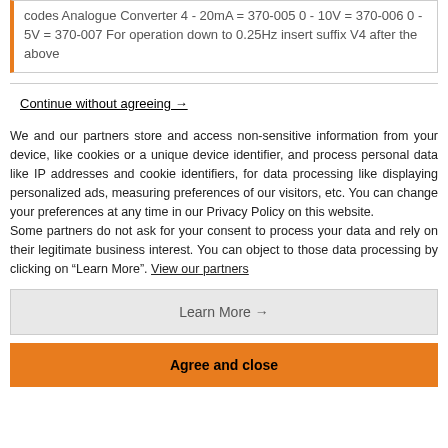codes Analogue Converter 4 - 20mA = 370-005 0 - 10V = 370-006 0 - 5V = 370-007 For operation down to 0.25Hz insert suffix V4 after the above
Continue without agreeing →
We and our partners store and access non-sensitive information from your device, like cookies or a unique device identifier, and process personal data like IP addresses and cookie identifiers, for data processing like displaying personalized ads, measuring preferences of our visitors, etc. You can change your preferences at any time in our Privacy Policy on this website.
Some partners do not ask for your consent to process your data and rely on their legitimate business interest. You can object to those data processing by clicking on “Learn More”. View our partners
Learn More →
Agree and close